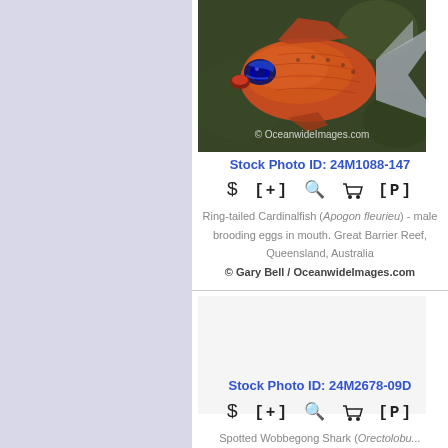[Figure (photo): Ring-tailed Cardinalfish (Apogon fleurieu) - male brooding eggs in mouth, underwater photo with coral background. Watermark: © OceanwideImages.com]
Stock Photo ID: 24M1088-147
$ [+] 🔍 🛒 [P]
Ring-tailed Cardinalfish (Apogon fleurieu) - male brooding eggs in mouth. Great Barrier Reef, Queensland, Australia
© Gary Bell / OceanwideImages.com
[Figure (photo): Second stock photo placeholder (loading) for Spotted Wobbegong Shark]
Stock Photo ID: 24M2678-09D
$ [+] 🔍 🛒 [P]
Spotted Wobbegong Shark (Orectolobus...